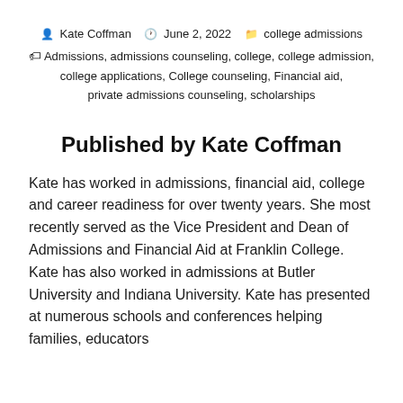Kate Coffman   June 2, 2022   college admissions
Admissions, admissions counseling, college, college admission, college applications, College counseling, Financial aid, private admissions counseling, scholarships
Published by Kate Coffman
Kate has worked in admissions, financial aid, college and career readiness for over twenty years. She most recently served as the Vice President and Dean of Admissions and Financial Aid at Franklin College. Kate has also worked in admissions at Butler University and Indiana University. Kate has presented at numerous schools and conferences helping families, educators and the...